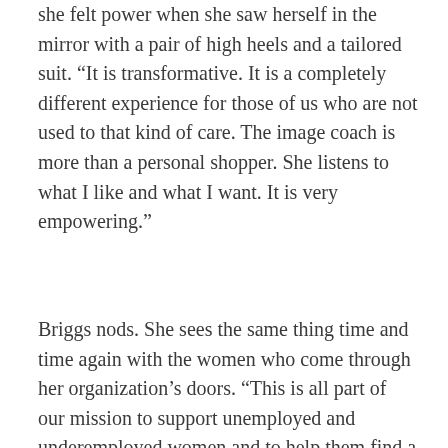she felt power when she saw herself in the mirror with a pair of high heels and a tailored suit. “It is transformative. It is a completely different experience for those of us who are not used to that kind of care. The image coach is more than a personal shopper. She listens to what I like and what I want. It is very empowering.”
Briggs nods. She sees the same thing time and time again with the women who come through her organization’s doors. “This is all part of our mission to support unemployed and underemployed women and to help them find a career in service. Adventi...